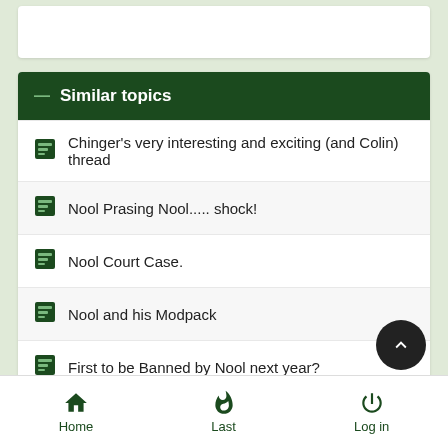Similar topics
Chinger's very interesting and exciting (and Colin) thread
Nool Prasing Nool..... shock!
Nool Court Case.
Nool and his Modpack
First to be Banned by Nool next year?
Home  Last  Log in